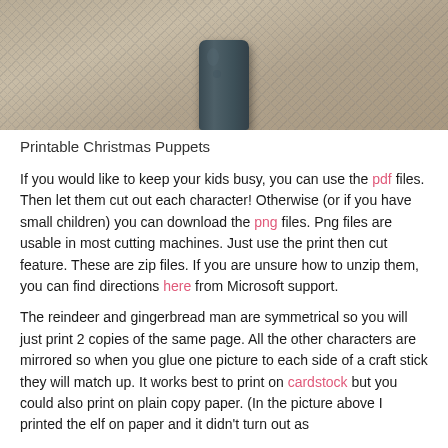[Figure (photo): Close-up photo of a craft stick puppet (dark grey/teal cylindrical object) standing upright on a beige carpet background, cropped to show only the top portion of the stick and the carpet.]
Printable Christmas Puppets
If you would like to keep your kids busy, you can use the pdf files. Then let them cut out each character! Otherwise (or if you have small children) you can download the png files. Png files are usable in most cutting machines. Just use the print then cut feature. These are zip files. If you are unsure how to unzip them, you can find directions here from Microsoft support.
The reindeer and gingerbread man are symmetrical so you will just print 2 copies of the same page. All the other characters are mirrored so when you glue one picture to each side of a craft stick they will match up. It works best to print on cardstock but you could also print on plain copy paper. (In the picture above I printed the elf on paper and it didn't turn out as